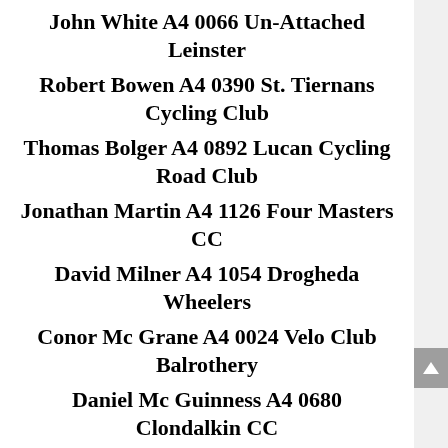John White A4 0066 Un-Attached Leinster
Robert Bowen A4 0390 St. Tiernans Cycling Club
Thomas Bolger A4 0892 Lucan Cycling Road Club
Jonathan Martin A4 1126 Four Masters CC
David Milner A4 1054 Drogheda Wheelers
Conor Mc Grane A4 0024 Velo Club Balrothery
Daniel Mc Guinness A4 0680 Clondalkin CC
Derek Daly A4 0547 Clondalkin CC
Gareth Dempsey A4 0404 Square Wheels
Paul Conroy A4 1025 Dublin Wheelers